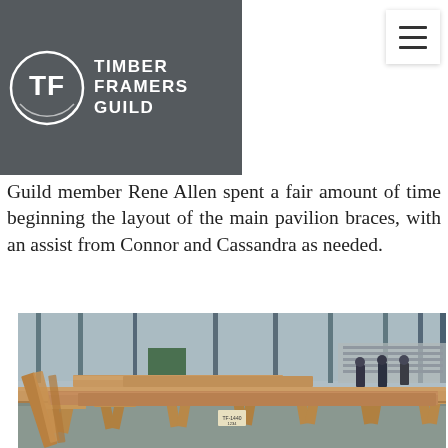[Figure (logo): Timber Framers Guild logo with circular TF monogram on dark grey background, white text reading TIMBER FRAMERS GUILD]
Guild member Rene Allen spent a fair amount of time beginning the layout of the main pavilion braces, with an assist from Connor and Cassandra as needed.
[Figure (photo): Interior of a large warehouse with timber framing members laid out on sawhorses. Several large wooden beams are arranged in rows on wooden trestle supports. Three people are visible in the background. The warehouse has a steel frame structure with natural lighting. The floor is concrete.]